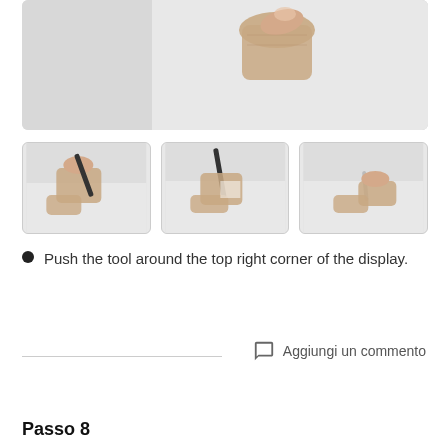[Figure (photo): Hand holding/peeling top right corner of a white display panel, close-up view]
[Figure (photo): Thumbnail 1: Hand using a tool to push around the corner of display]
[Figure (photo): Thumbnail 2: Tool being pushed around the top right corner of display]
[Figure (photo): Thumbnail 3: Hand and tool working on corner of display]
Push the tool around the top right corner of the display.
Aggiungi un commento
Passo 8